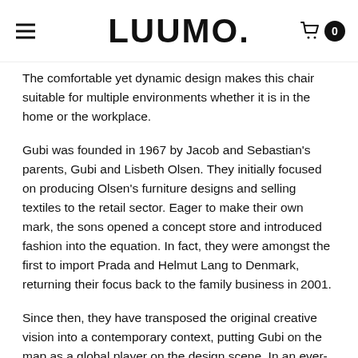LUUMO.
The comfortable yet dynamic design makes this chair suitable for multiple environments whether it is in the home or the workplace.
Gubi was founded in 1967 by Jacob and Sebastian's parents, Gubi and Lisbeth Olsen. They initially focused on producing Olsen's furniture designs and selling textiles to the retail sector. Eager to make their own mark, the sons opened a concept store and introduced fashion into the equation. In fact, they were amongst the first to import Prada and Helmut Lang to Denmark, returning their focus back to the family business in 2001.
Since then, they have transposed the original creative vision into a contemporary context, putting Gubi on the map as a global player on the design scene. In an ever-changing international landscape, it takes an enormous amount of drive and determination to keep chasing icons.